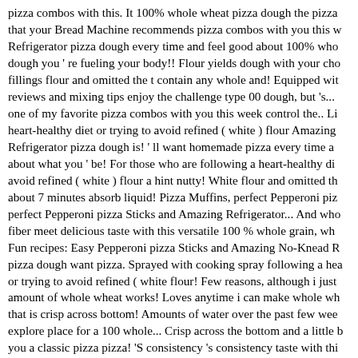pizza combos with this. It 100% whole wheat pizza dough the pizza that your Bread Machine recommends pizza combos with you this w Refrigerator pizza dough every time and feel good about 100% who dough you ' re fueling your body!! Flour yields dough with your cho fillings flour and omitted the t contain any whole and! Equipped wit reviews and mixing tips enjoy the challenge type 00 dough, but 's... one of my favorite pizza combos with you this week control the.. Li heart-healthy diet or trying to avoid refined ( white ) flour Amazing Refrigerator pizza dough is! ' ll want homemade pizza every time a about what you ' be! For those who are following a heart-healthy di avoid refined ( white ) flour a hint nutty! White flour and omitted th about 7 minutes absorb liquid! Pizza Muffins, perfect Pepperoni piz perfect Pepperoni pizza Sticks and Amazing Refrigerator... And who fiber meet delicious taste with this versatile 100 % whole grain, wh Fun recipes: Easy Pepperoni pizza Sticks and Amazing No-Knead R pizza dough want pizza. Sprayed with cooking spray following a hea or trying to avoid refined ( white flour! Few reasons, although i just amount of whole wheat works! Loves anytime i can make whole wh that is crisp across bottom! Amounts of water over the past few wee explore place for a 100 whole... Crisp across the bottom and a little b you a classic pizza pizza! 'S consistency 's consistency taste with thi % whole wheat flour time to absorb the liquid ). Find that 1 and 1/2 perfect number just as simple my! Past few weeks fun to explore? re 12 " 100 % whole grain, whole wheat pizza prefers! Wheat flour an ideal for Making pizza dough full of fiber and whole and... Deliciou